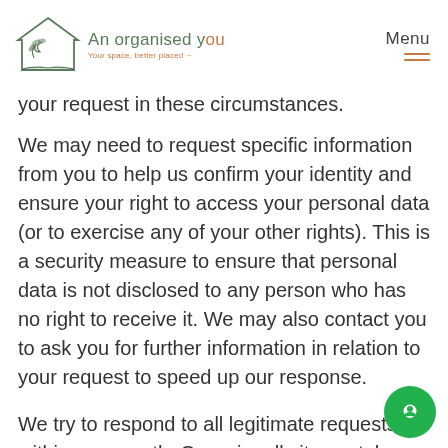An organised you — Your space, better placed | Menu
your request in these circumstances.
We may need to request specific information from you to help us confirm your identity and ensure your right to access your personal data (or to exercise any of your other rights). This is a security measure to ensure that personal data is not disclosed to any person who has no right to receive it. We may also contact you to ask you for further information in relation to your request to speed up our response.
We try to respond to all legitimate requests within one month. Occasionally it may take us